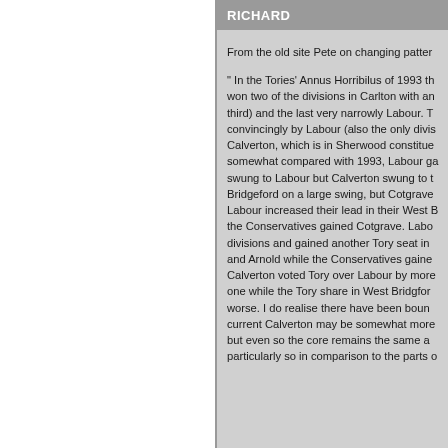RICHARD
From the old site Pete on changing patter
" In the Tories' Annus Horribilus of 1993 th won two of the divisions in Carlton with an third) and the last very narrowly Labour. T convincingly by Labour (also the only divis Calverton, which is in Sherwood constitue somewhat compared with 1993, Labour ga swung to Labour but Calverton swung to t Bridgeford on a large swing, but Cotgrave Labour increased their lead in their West B the Conservatives gained Cotgrave. Labo divisions and gained another Tory seat in and Arnold while the Conservatives gaine Calverton voted Tory over Labour by more one while the Tory share in West Bridgfor worse. I do realise there have been boun current Calverton may be somewhat more but even so the core remains the same a particularly so in comparison to the parts o